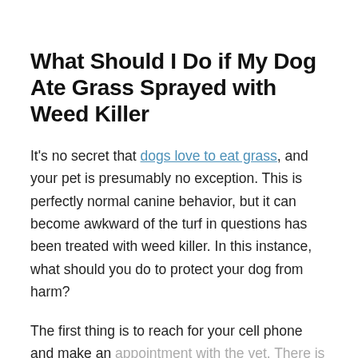What Should I Do if My Dog Ate Grass Sprayed with Weed Killer
It's no secret that dogs love to eat grass, and your pet is presumably no exception. This is perfectly normal canine behavior, but it can become awkward of the turf in questions has been treated with weed killer. In this instance, what should you do to protect your dog from harm?
The first thing is to reach for your cell phone and make an appointment with the vet. There is every chance that this will not be necessary, but an animal healthcare